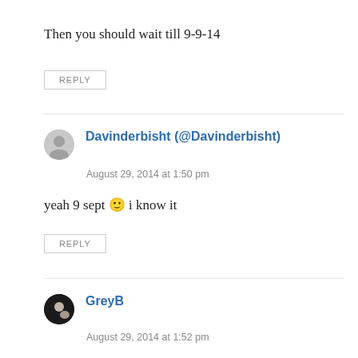Then you should wait till 9-9-14
REPLY
Davinderbisht (@Davinderbisht)
August 29, 2014 at 1:50 pm
yeah 9 sept 🙂 i know it
REPLY
GreyB
August 29, 2014 at 1:52 pm
cool 🙂